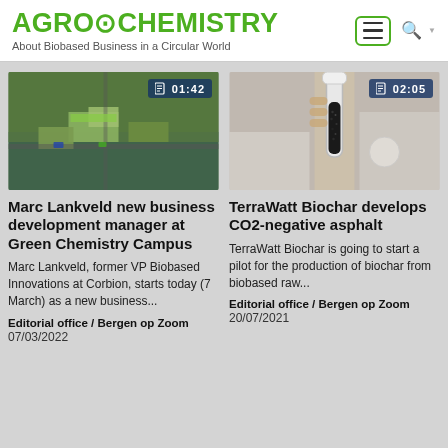AGRO&CHEMISTRY – About Biobased Business in a Circular World
[Figure (photo): Aerial view of an industrial/agricultural facility with green roofs, surrounded by water and fields. Video duration badge shows 01:42.]
Marc Lankveld new business development manager at Green Chemistry Campus
Marc Lankveld, former VP Biobased Innovations at Corbion, starts today (7 March) as a new business...
Editorial office / Bergen op Zoom
07/03/2022
[Figure (photo): Close-up of a hand holding a glass tube filled with dark granular biochar material in a laboratory setting. Video duration badge shows 02:05.]
TerraWatt Biochar develops CO2-negative asphalt
TerraWatt Biochar is going to start a pilot for the production of biochar from biobased raw...
Editorial office / Bergen op Zoom
20/07/2021